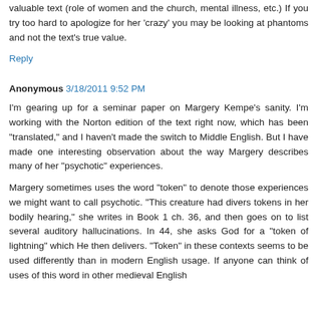valuable text (role of women and the church, mental illness, etc.) If you try too hard to apologize for her 'crazy' you may be looking at phantoms and not the text's true value.
Reply
Anonymous 3/18/2011 9:52 PM
I'm gearing up for a seminar paper on Margery Kempe's sanity. I'm working with the Norton edition of the text right now, which has been "translated," and I haven't made the switch to Middle English. But I have made one interesting observation about the way Margery describes many of her "psychotic" experiences.
Margery sometimes uses the word "token" to denote those experiences we might want to call psychotic. "This creature had divers tokens in her bodily hearing," she writes in Book 1 ch. 36, and then goes on to list several auditory hallucinations. In 44, she asks God for a "token of lightning" which He then delivers. "Token" in these contexts seems to be used differently than in modern English usage. If anyone can think of uses of this word in other medieval English